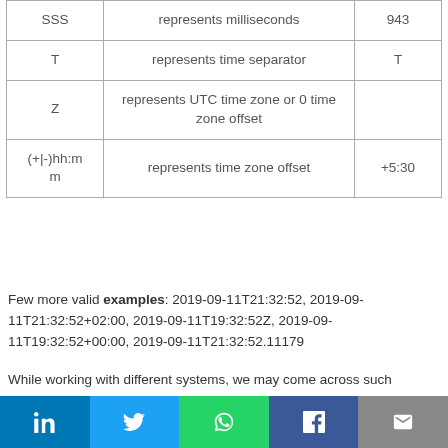|  |  |  |
| --- | --- | --- |
| SSS | represents milliseconds | 943 |
| T | represents time separator | T |
| Z | represents UTC time zone or 0 time zone offset |  |
| (+|-)hh:mm | represents time zone offset | +5:30 |
Few more valid examples: 2019-09-11T21:32:52, 2019-09-11T21:32:52+02:00, 2019-09-11T19:32:52Z, 2019-09-11T19:32:52+00:00, 2019-09-11T21:32:52.11179
While working with different systems, we may come across such systems, which require date time in some different formats other than default format as supported by xs:dateTime. To over come such scenarios, function is available in OIC(Oracle Integration